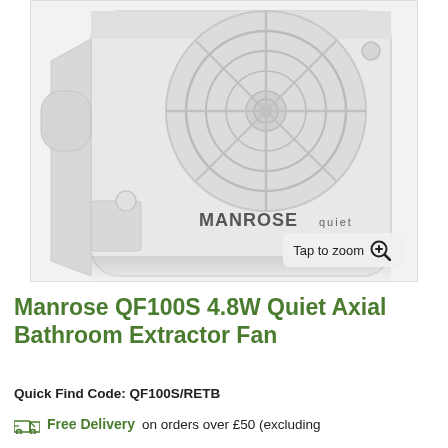[Figure (photo): White Manrose QF100S quiet axial bathroom extractor fan shown at an angle, with circular fan grill visible and 'MANROSE quiet' branding on the front face. Product has a white plastic housing.]
Manrose QF100S 4.8W Quiet Axial Bathroom Extractor Fan
Quick Find Code: QF100S/RETB
Free Delivery on orders over £50 (excluding